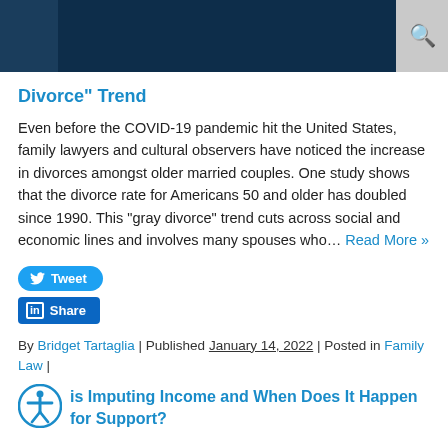Divorce" Trend
Even before the COVID-19 pandemic hit the United States, family lawyers and cultural observers have noticed the increase in divorces amongst older married couples. One study shows that the divorce rate for Americans 50 and older has doubled since 1990. This "gray divorce" trend cuts across social and economic lines and involves many spouses who… Read More »
Tweet
Share
By Bridget Tartaglia | Published January 14, 2022 | Posted in Family Law |
is Imputing Income and When Does It Happen for Support?